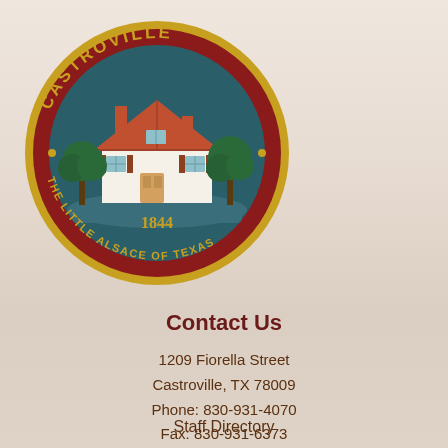[Figure (logo): Castroville city seal — circular logo with dark red border, gold ring, text 'CASTROVILLE' at top and 'THE LITTLE ALSACE OF TEXAS' at bottom, featuring an illustration of a white Alsatian-style house with teal sky background and year 1844]
Contact Us
1209 Fiorella Street
Castroville, TX 78009
Phone: 830-931-4070
Fax: 830-931-6373
Staff Directory